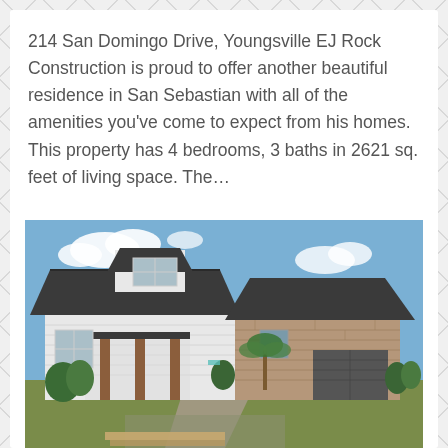214 San Domingo Drive, Youngsville EJ Rock Construction is proud to offer another beautiful residence in San Sebastian with all of the amenities you've come to expect from his homes. This property has 4 bedrooms, 3 baths in 2621 sq. feet of living space. The...
[Figure (photo): Exterior photo of a new construction home with white siding and brick accents, dark shingle roof, front porch with wood columns, garage on right side, blue sky with clouds, green lawn in front.]